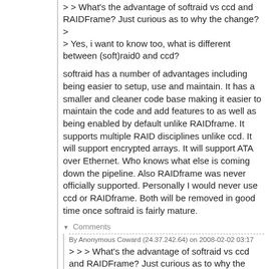> > What's the advantage of softraid vs ccd and RAIDFrame? Just curious as to why the change?
>
> Yes, i want to know too, what is different between (soft)raid0 and ccd?
softraid has a number of advantages including being easier to setup, use and maintain. It has a smaller and cleaner code base making it easier to maintain the code and add features to as well as being enabled by default unlike RAIDframe. It supports multiple RAID disciplines unlike ccd. It will support encrypted arrays. It will support ATA over Ethernet. Who knows what else is coming down the pipeline. Also RAIDframe was never officially supported. Personally I would never use ccd or RAIDframe. Both will be removed in good time once softraid is fairly mature.
▼ Comments
By Anonymous Coward (24.37.242.64) on 2008-02-02 03:17
> > > What's the advantage of softraid vs ccd and RAIDFrame? Just curious as to why the change?
> >
> > Yes, i want to know too, what is different